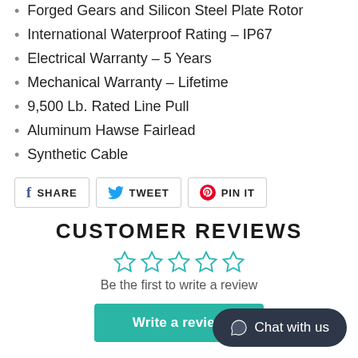Forged Gears and Silicon Steel Plate Rotor
International Waterproof Rating – IP67
Electrical Warranty – 5 Years
Mechanical Warranty – Lifetime
9,500 Lb. Rated Line Pull
Aluminum Hawse Fairlead
Synthetic Cable
[Figure (infographic): Social share buttons: Facebook Share, Twitter Tweet, Pinterest Pin It]
CUSTOMER REVIEWS
[Figure (infographic): Five empty star rating icons in teal]
Be the first to write a review
[Figure (infographic): Write a review button (teal) and Chat with us widget (dark)]